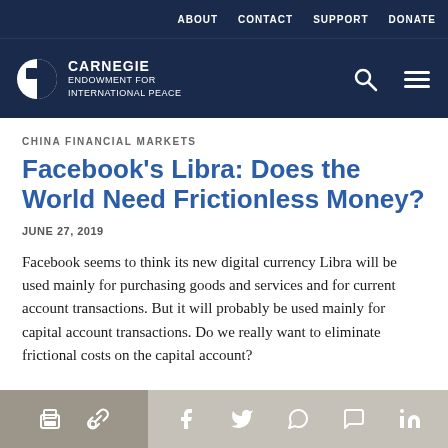ABOUT  CONTACT  SUPPORT  DONATE
[Figure (logo): Carnegie Endowment for International Peace logo — white circle-quarter icon with CARNEGIE ENDOWMENT FOR INTERNATIONAL PEACE text in white on dark navy background]
CHINA FINANCIAL MARKETS
Facebook's Libra: Does the World Need Frictionless Money?
JUNE 27, 2019
Facebook seems to think its new digital currency Libra will be used mainly for purchasing goods and services and for current account transactions. But it will probably be used mainly for capital account transactions. Do we really want to eliminate frictional costs on the capital account?
Share bar with print, link, Facebook, Twitter, WhatsApp, Messenger, LinkedIn icons